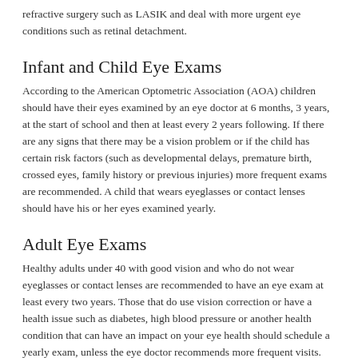refractive surgery such as LASIK and deal with more urgent eye conditions such as retinal detachment.
Infant and Child Eye Exams
According to the American Optometric Association (AOA) children should have their eyes examined by an eye doctor at 6 months, 3 years, at the start of school and then at least every 2 years following. If there are any signs that there may be a vision problem or if the child has certain risk factors (such as developmental delays, premature birth, crossed eyes, family history or previous injuries) more frequent exams are recommended. A child that wears eyeglasses or contact lenses should have his or her eyes examined yearly.
Adult Eye Exams
Healthy adults under 40 with good vision and who do not wear eyeglasses or contact lenses are recommended to have an eye exam at least every two years. Those that do use vision correction or have a health issue such as diabetes, high blood pressure or another health condition that can have an impact on your eye health should schedule a yearly exam, unless the eye doctor recommends more frequent visits.